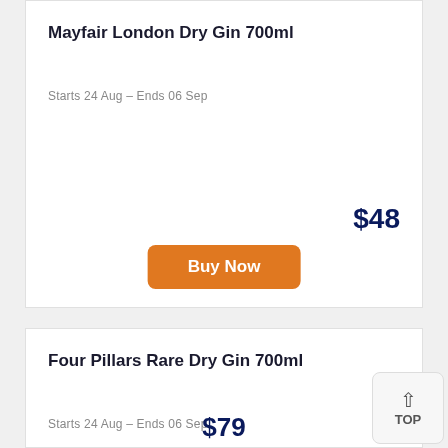Mayfair London Dry Gin 700ml
Starts 24 Aug – Ends 06 Sep
$48
Buy Now
Four Pillars Rare Dry Gin 700ml
Starts 24 Aug – Ends 06 Sep
$79
TOP